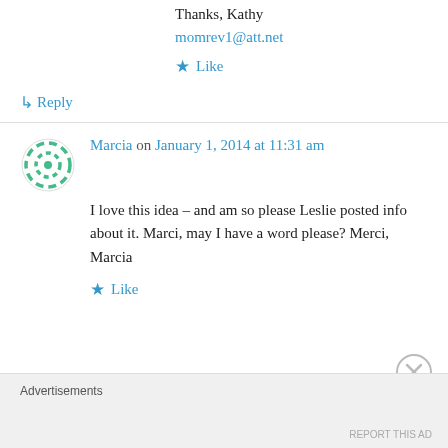Thanks, Kathy
momrev1@att.net
★ Like
↳ Reply
Marcia on January 1, 2014 at 11:31 am
I love this idea – and am so please Leslie posted info about it. Marci, may I have a word please? Merci,
Marcia
★ Like
Advertisements